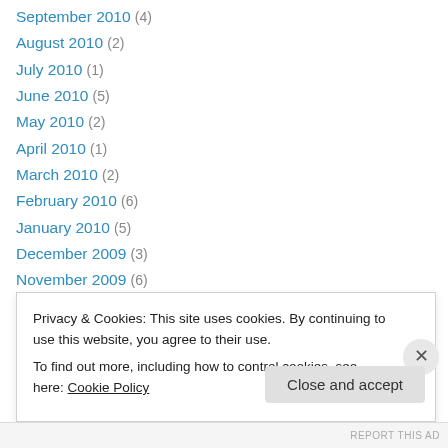September 2010 (4)
August 2010 (2)
July 2010 (1)
June 2010 (5)
May 2010 (2)
April 2010 (1)
March 2010 (2)
February 2010 (6)
January 2010 (5)
December 2009 (3)
November 2009 (6)
October 2009 (5)
September 2009 (3)
Privacy & Cookies: This site uses cookies. By continuing to use this website, you agree to their use. To find out more, including how to control cookies, see here: Cookie Policy